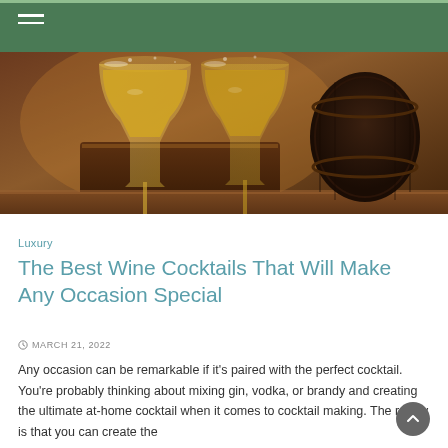[Figure (photo): Two elegant wine glasses with golden liquid on a wooden surface, with a dark barrel in the background. Warm amber tones.]
Luxury
The Best Wine Cocktails That Will Make Any Occasion Special
MARCH 21, 2022
Any occasion can be remarkable if it's paired with the perfect cocktail. You're probably thinking about mixing gin, vodka, or brandy and creating the ultimate at-home cocktail when it comes to cocktail making. The reality is that you can create the